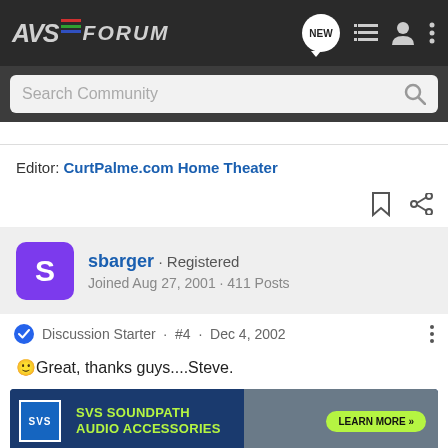AVS Forum navigation bar with logo, NEW bubble, list icon, user icon, menu icon
Search Community
Editor: CurtPalme.com Home Theater
[Figure (screenshot): Bookmark and share icons]
sbarger · Registered
Joined Aug 27, 2001 · 411 Posts
Discussion Starter · #4 · Dec 4, 2002
🙂Great, thanks guys....Steve.
[Figure (photo): SVS SoundPath Audio Accessories advertisement banner with LEARN MORE button]